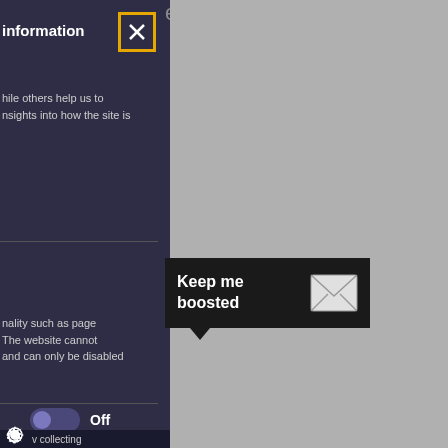[Figure (screenshot): Cookie/privacy settings panel on a dark purple background with close button, text about site insights, a 'Keep me boosted' email banner, toggle switch set to Off, and a gear icon at the bottom.]
information
hile others help us to nsights into how the site is
nality such as page The website cannot and can only be disabled
Keep me boosted
Off
v collecting